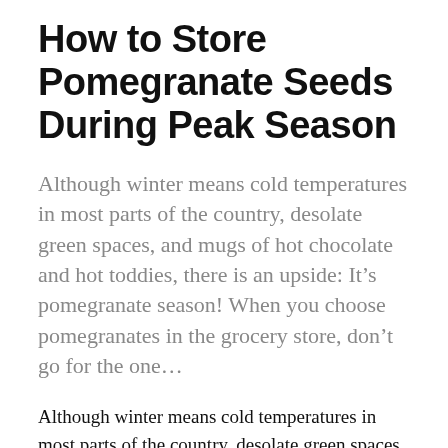How to Store Pomegranate Seeds During Peak Season
Although winter means cold temperatures in most parts of the country, desolate green spaces, and mugs of hot chocolate and hot toddies, there is an upside: It’s pomegranate season! When you choose pomegranates in the grocery store, don’t go for the one…
Although winter means cold temperatures in most parts of the country, desolate green spaces, and mugs of hot chocolate and hot